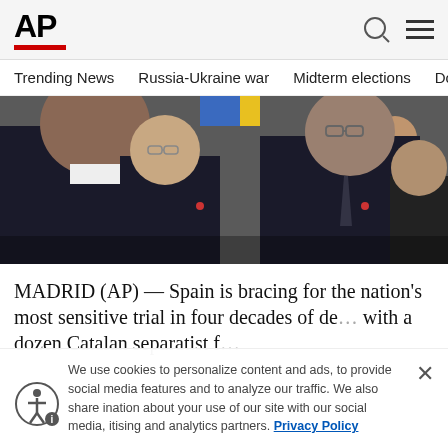AP
Trending News  Russia-Ukraine war  Midterm elections  Dona
[Figure (photo): Group of people in formal attire standing together, including politicians, in a crowd scene]
MADRID (AP) — Spain is bracing for the nation's most sensitive trial in four decades of de... with a dozen Catalan separatist f...
We use cookies to personalize content and ads, to provide social media features and to analyze our traffic. We also share information about your use of our site with our social media, advertising and analytics partners. Privacy Policy